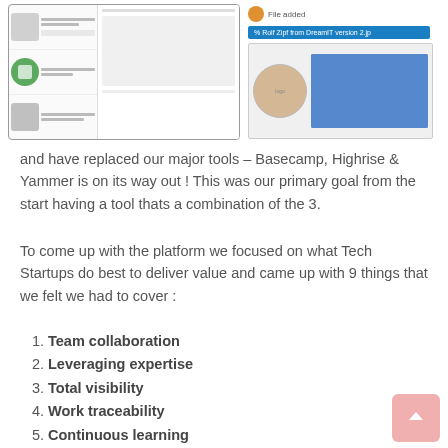[Figure (screenshot): Two screenshots: left shows a mobile app UI with list items and icons; right shows a file notification and a profile card with photo]
and have replaced our major tools – Basecamp, Highrise & Yammer is on its way out ! This was our primary goal from the start having a tool thats a combination of the 3.
To come up with the platform we focused on what Tech Startups do best to deliver value and came up with 9 things that we felt we had to cover :
Team collaboration
Leveraging expertise
Total visibility
Work traceability
Continuous learning
Value focus
Measure metrics
Adapt & customise
Integrate with other solutions